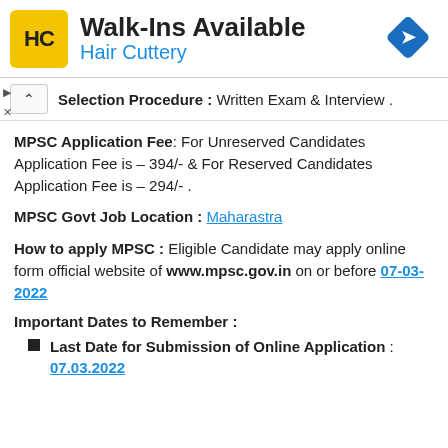[Figure (infographic): Hair Cuttery advertisement banner with logo, Walk-Ins Available text, and direction arrow icon]
Selection Procedure : Written Exam & Interview .
MPSC Application Fee: For Unreserved Candidates Application Fee is – 394/- & For Reserved Candidates Application Fee is – 294/- .
MPSC Govt Job Location : Maharastra
How to apply MPSC : Eligible Candidate may apply online form official website of www.mpsc.gov.in on or before 07-03-2022
Important Dates to Remember :
Last Date for Submission of Online Application : 07.03.2022